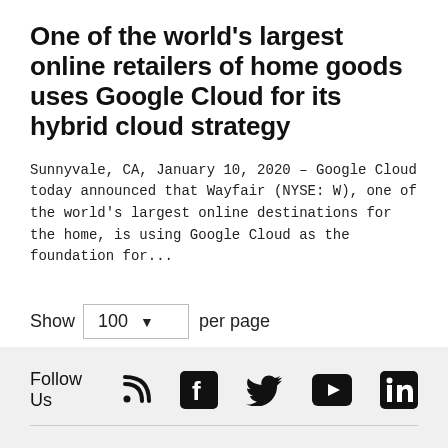One of the world's largest online retailers of home goods uses Google Cloud for its hybrid cloud strategy
Sunnyvale, CA, January 10, 2020 – Google Cloud today announced that Wayfair (NYSE: W), one of the world's largest online destinations for the home, is using Google Cloud as the foundation for...
Show 100 ▾ per page
Follow Us [RSS] [Facebook] [Twitter] [YouTube] [LinkedIn]